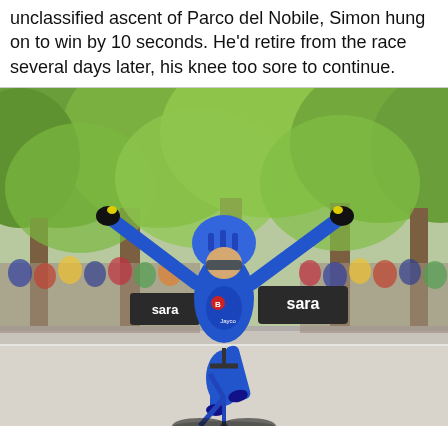unclassified ascent of Parco del Nobile, Simon hung on to win by 10 seconds. He'd retire from the race several days later, his knee too sore to continue.
[Figure (photo): A cyclist wearing a blue BikeExchange-Jayco team kit celebrates a stage victory with both arms raised, crossing the finish line on a tree-lined avenue. Sponsor banners including 'sara' are visible. A crowd of spectators lines the barriers in the background.]